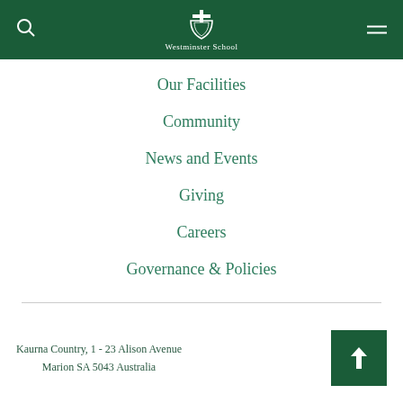Westminster School
Our Facilities
Community
News and Events
Giving
Careers
Governance & Policies
Kaurna Country, 1 - 23 Alison Avenue Marion SA 5043 Australia